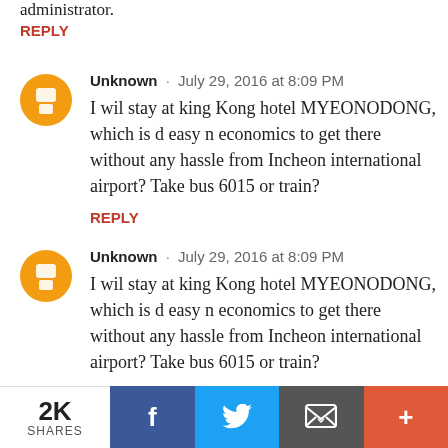administrator.
REPLY
Unknown · July 29, 2016 at 8:09 PM
I wil stay at king Kong hotel MYEONODONG, which is d easy n economics to get there without any hassle from Incheon international airport? Take bus 6015 or train?
REPLY
Unknown · July 29, 2016 at 8:09 PM
I wil stay at king Kong hotel MYEONODONG, which is d easy n economics to get there without any hassle from Incheon international airport? Take bus 6015 or train?
2K SHARES | Facebook | Twitter | Email | +